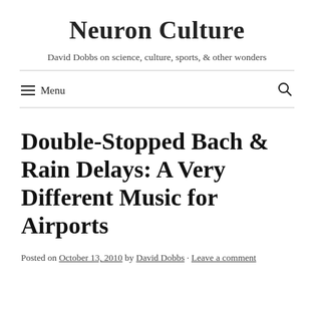Neuron Culture
David Dobbs on science, culture, sports, & other wonders
Menu
Double-Stopped Bach & Rain Delays: A Very Different Music for Airports
Posted on October 13, 2010 by David Dobbs · Leave a comment